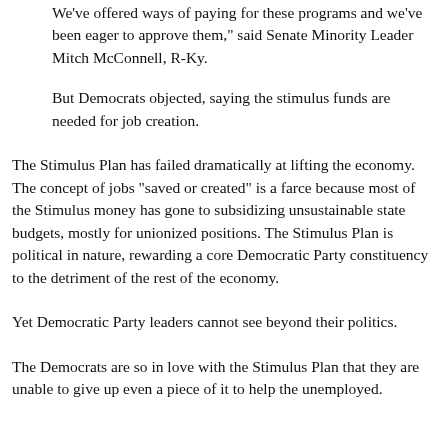We've offered ways of paying for these programs and we've been eager to approve them," said Senate Minority Leader Mitch McConnell, R-Ky.
But Democrats objected, saying the stimulus funds are needed for job creation.
The Stimulus Plan has failed dramatically at lifting the economy. The concept of jobs "saved or created" is a farce because most of the Stimulus money has gone to subsidizing unsustainable state budgets, mostly for unionized positions. The Stimulus Plan is political in nature, rewarding a core Democratic Party constituency to the detriment of the rest of the economy.
Yet Democratic Party leaders cannot see beyond their politics.
The Democrats are so in love with the Stimulus Plan that they are unable to give up even a piece of it to help the unemployed.